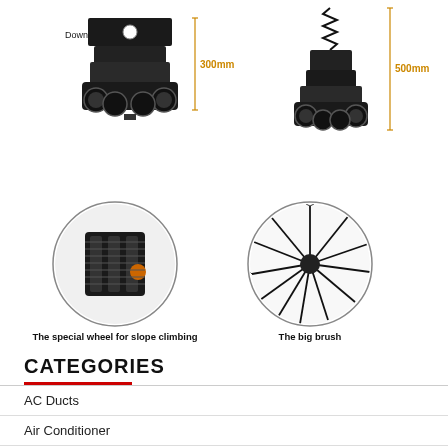[Figure (engineering-diagram): Two robotic cleaning robots shown side by side with dimension annotations. Left robot labeled 'Down' with 300mm height annotation in orange. Right robot taller with 500mm height annotation in orange. Both robots have special wheels/tracks.]
[Figure (engineering-diagram): Two circular close-up images. Left circle shows 'The special wheel for slope climbing' - close-up of a special textured wheel. Right circle shows 'The big brush' - a radial brush with many bristles.]
The special wheel for slope climbing
The big brush
CATEGORIES
AC Ducts
Air Conditioner
Air Duct Cleaning
Air Vents